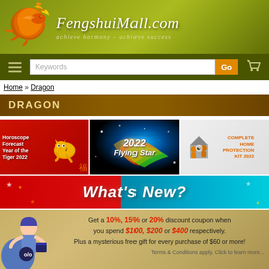[Figure (logo): FengshuiMall.com header banner with dragon logo, site name and tagline 'achieve harmony - achieve success']
Keywords search bar with Go button and cart icon
Home » Dragon
DRAGON
[Figure (illustration): Three promotional banners: Horoscope Forecast Year of the Tiger 2022, 2022 Flying Star, Complete Home Protection Kit 2022]
[Figure (illustration): What's New? promotional banner]
[Figure (illustration): Discount coupon banner: Get a 10%, 15% or 20% discount coupon when you spend $100, $200 or $400 respectively. Plus a mysterious free gift for every purchase of $60 or more! Terms & Conditions apply. Click to learn more...]